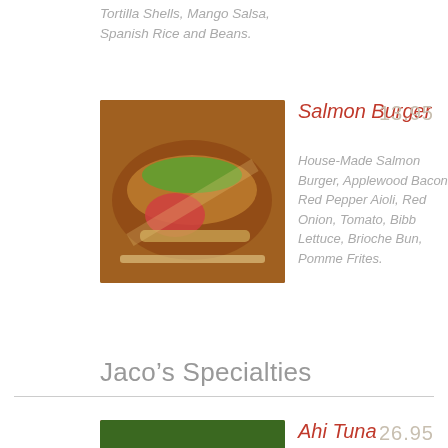Tortilla Shells, Mango Salsa, Spanish Rice and Beans.
Salmon Burger  13.95
House-Made Salmon Burger, Applewood Bacon, Red Pepper Aioli, Red Onion, Tomato, Bibb Lettuce, Brioche Bun, Pomme Frites.
Jaco’s Specialties
Ahi Tuna  26.95
Tempura Vegetables, Wasabi Mashed Potatoes, and Sesame Thai Chili Reduction.
Seared Salmon  28.95
Pesto Roasted Potatoes, Crispy Onion Straws, Lemon Dill